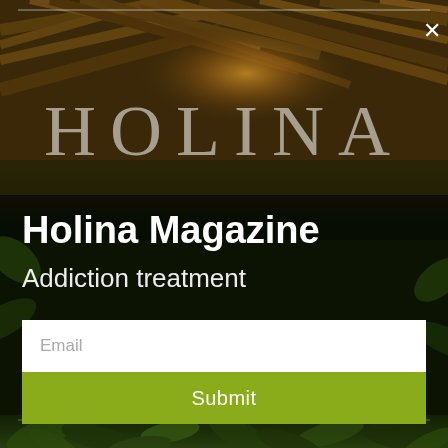[Figure (photo): Holina venue exterior with thatched roof, warm lamp glow, and tropical jungle foliage background. Dark overlay panel in center.]
Holina Magazine
Addiction treatment
Email
Submit